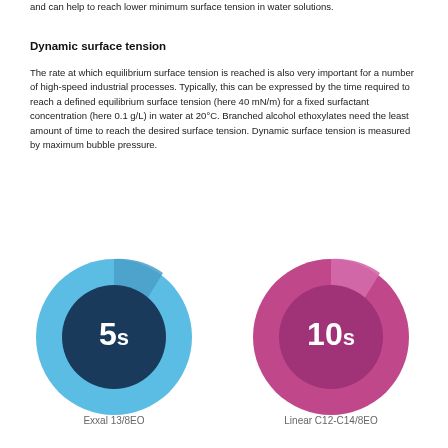and can help to reach lower minimum surface tension in water solutions.
Dynamic surface tension
The rate at which equilibrium surface tension is reached is also very important for a number of high-speed industrial processes. Typically, this can be expressed by the time required to reach a defined equilibrium surface tension (here 40 mN/m) for a fixed surfactant concentration (here 0.1 g/L) in water at 20°C. Branched alcohol ethoxylates need the least amount of time to reach the desired surface tension. Dynamic surface tension is measured by maximum bubble pressure.
[Figure (donut-chart): Exxal 13/8EO]
[Figure (donut-chart): Linear C12-C14/8EO]